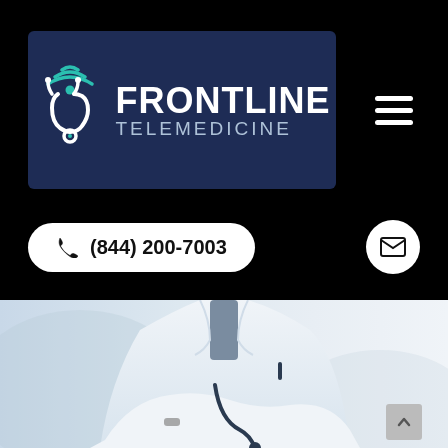[Figure (logo): Frontline Telemedicine logo on dark navy background with stethoscope/wifi icon in teal, text FRONTLINE TELEMEDICINE in white]
(844) 200-7003
[Figure (illustration): Doctor in white coat with arms crossed holding stethoscope, blurred background]